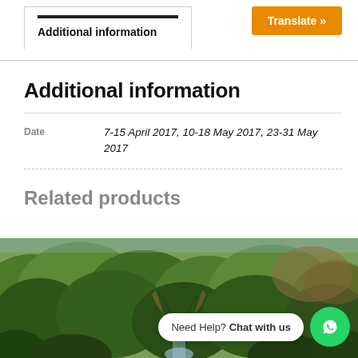Additional information
Additional information
|  | Date |
| --- | --- |
| Date | 7-15 April 2017, 10-18 May 2017, 23-31 May 2017 |
Related products
[Figure (photo): Aerial view of a lush green tropical forest with a waterfall or river gorge visible in the center]
Need Help? Chat with us